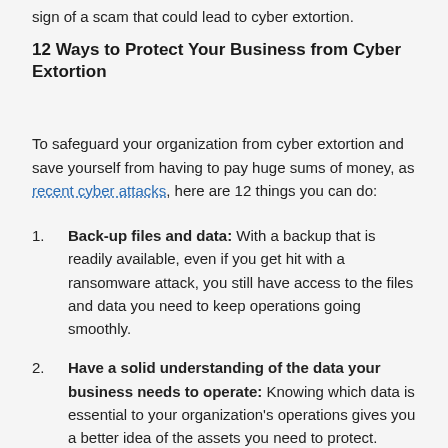sign of a scam that could lead to cyber extortion.
12 Ways to Protect Your Business from Cyber Extortion
To safeguard your organization from cyber extortion and save yourself from having to pay huge sums of money, as recent cyber attacks, here are 12 things you can do:
1. Back-up files and data: With a backup that is readily available, even if you get hit with a ransomware attack, you still have access to the files and data you need to keep operations going smoothly.
2. Have a solid understanding of the data your business needs to operate: Knowing which data is essential to your organization's operations gives you a better idea of the assets you need to protect.
3. Use firewalls and anti-malware: These types of